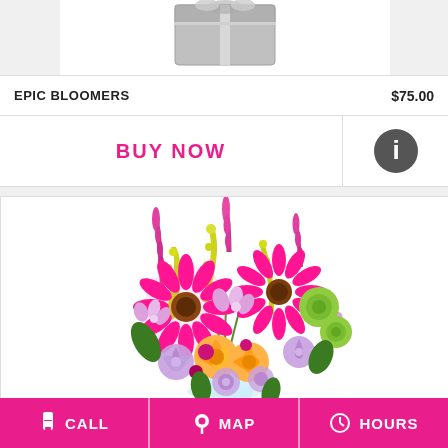[Figure (photo): Partially visible product image (silver/metallic gift or vase) at top of product card]
EPIC BLOOMERS    $75.00
BUY NOW
[Figure (illustration): Info circle icon (dark circle with white 'i')]
[Figure (photo): Colorful flower bouquet with pink gerbera daisies, orange roses, purple carnations, lavender alstroemeria, green button mums, and yellow accents in a clear vase]
CALL   MAP   HOURS